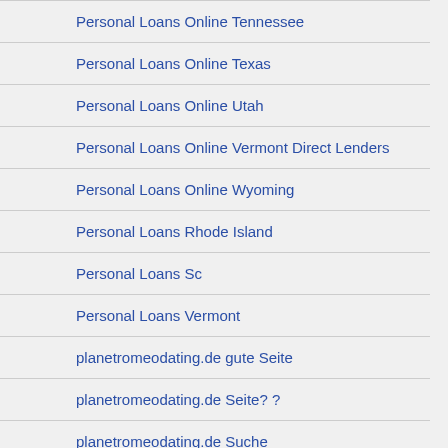Personal Loans Online Tennessee
Personal Loans Online Texas
Personal Loans Online Utah
Personal Loans Online Vermont Direct Lenders
Personal Loans Online Wyoming
Personal Loans Rhode Island
Personal Loans Sc
Personal Loans Vermont
planetromeodating.de gute Seite
planetromeodating.de Seite? ?
planetromeodating.de Suche
Plenty OfFish dating